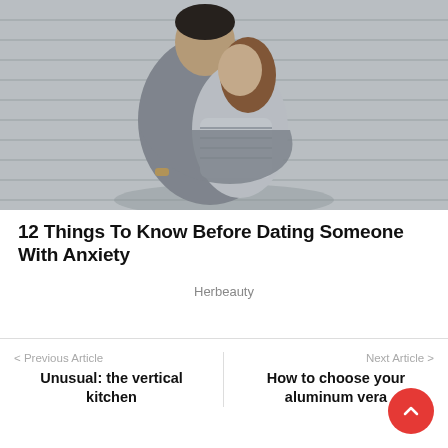[Figure (photo): A couple embracing and kissing, the man in a gray t-shirt hugging the woman from behind against a striped metal background]
12 Things To Know Before Dating Someone With Anxiety
Herbeauty
< Previous Article
Unusual: the vertical kitchen
Next Article >
How to choose your aluminum vera